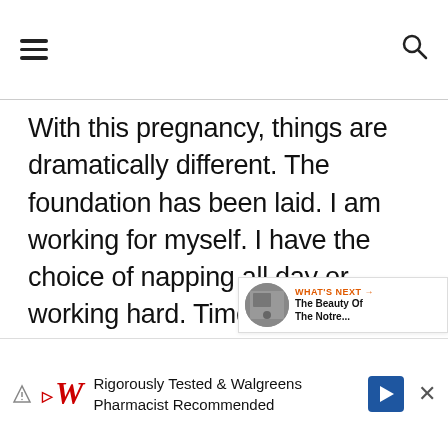[hamburger menu icon] [search icon]
With this pregnancy, things are dramatically different. The foundation has been laid. I am working for myself. I have the choice of napping all day or working hard. Time has slowed down tremendously and I was able to savor every part about being with child. I wasn't distracted by getting up everyday, getting on the train, dealing with corporate things, then ru...
Rigorously Tested & Walgreens Pharmacist Recommended [ad]